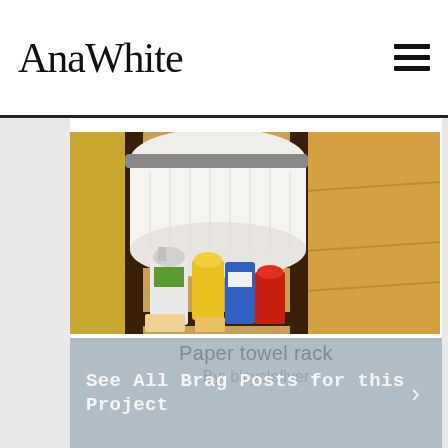AnaWhite
[Figure (photo): A wooden paper towel rack with a roll of paper towels on top and cleaning supplies on a lower shelf, including spray bottles and containers. A red fire extinguisher is visible to the left.]
Paper towel rack
By: bicycleflyer
See All Brag Posts for this Project